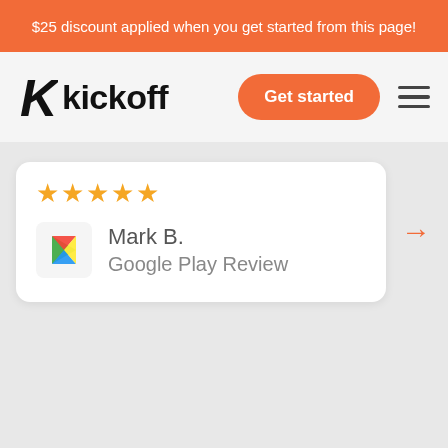$25 discount applied when you get started from this page!
[Figure (logo): Kickoff logo with stylized K icon and 'kickoff' wordmark, plus a 'Get started' orange button and hamburger menu icon]
[Figure (screenshot): Review card showing 5 gold stars, Google Play icon, reviewer name 'Mark B.' and 'Google Play Review', with an orange right arrow beside the card]